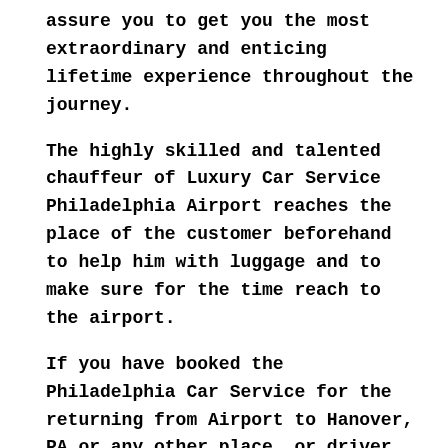assure you to get you the most extraordinary and enticing lifetime experience throughout the journey.
The highly skilled and talented chauffeur of Luxury Car Service Philadelphia Airport reaches the place of the customer beforehand to help him with luggage and to make sure for the time reach to the airport.
If you have booked the Philadelphia Car Service for the returning from Airport to Hanover, PA or any other place, or driver reaches the terminal with your sign to save you from waiting after a long tiring flight. You can relax your senses and recline within our exquisite and alluring ambiance of the car after the long tiring journey to Philadelphia...